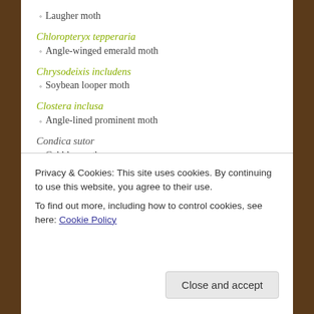◦ Laugher moth
Chloropteryx tepperaria
◦ Angle-winged emerald moth
Chrysodeixis includens
◦ Soybean looper moth
Clostera inclusa
◦ Angle-lined prominent moth
Condica sutor
◦ Cobbler moth
Cosmosoma myrodora
◦ Scarlet-bodied wasp moth
Darapsa myron
Privacy & Cookies: This site uses cookies. By continuing to use this website, you agree to their use.
To find out more, including how to control cookies, see here: Cookie Policy